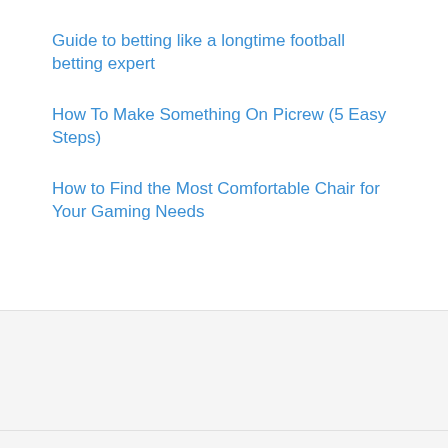Guide to betting like a longtime football betting expert
How To Make Something On Picrew (5 Easy Steps)
How to Find the Most Comfortable Chair for Your Gaming Needs